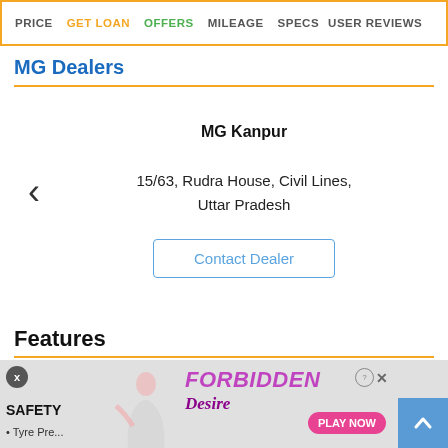PRICE  GET LOAN  OFFERS  MILEAGE  SPECS  USER REVIEWS
MG Dealers
MG Kanpur
15/63, Rudra House, Civil Lines, Uttar Pradesh
Contact Dealer
Features
SAFETY
• Tyre Pre...